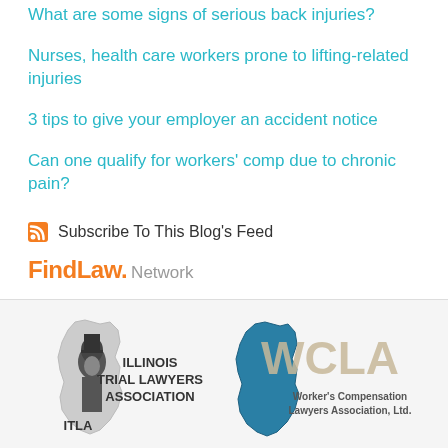What are some signs of serious back injuries?
Nurses, health care workers prone to lifting-related injuries
3 tips to give your employer an accident notice
Can one qualify for workers' comp due to chronic pain?
Subscribe To This Blog's Feed
[Figure (logo): FindLaw Network logo with orange FindLaw text and gray Network text]
[Figure (logo): Illinois Trial Lawyers Association (ITLA) logo with Abraham Lincoln silhouette and state outline]
[Figure (logo): WCLA Worker's Compensation Lawyers Association, Ltd. logo with Illinois state outline in teal]